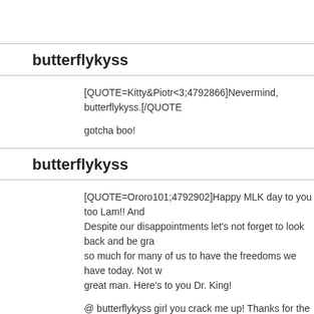butterflykyss
[QUOTE=Kitty&Piotr<3;4792866]Nevermind, butterflykyss.[/QUOTE]

gotcha boo!
butterflykyss
[QUOTE=Ororo101;4792902]Happy MLK day to you too Lam!! And Despite our disappointments let's not forget to look back and be gra so much for many of us to have the freedoms we have today. Not w great man. Here's to you Dr. King!

@ butterflykyss girl you crack me up! Thanks for the love lol I love o X-twitter too haha. Y'all are some real ones.[/QUOTE]

lmfao bish I love you because you are not afraid to say what everyo one post got this thread lit all the way up and it does because what y the article didnt need to be storm centric but if your article is a quote honor of mlk day you would think the marvel team would have a littl their most popular black character. again diversity is so very importa crackshot didnt think anything of not including ororo but I think so